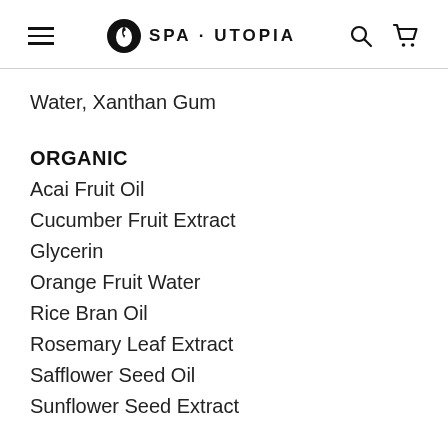SPA·UTOPIA
Water, Xanthan Gum
ORGANIC
Acai Fruit Oil
Cucumber Fruit Extract
Glycerin
Orange Fruit Water
Rice Bran Oil
Rosemary Leaf Extract
Safflower Seed Oil
Sunflower Seed Extract